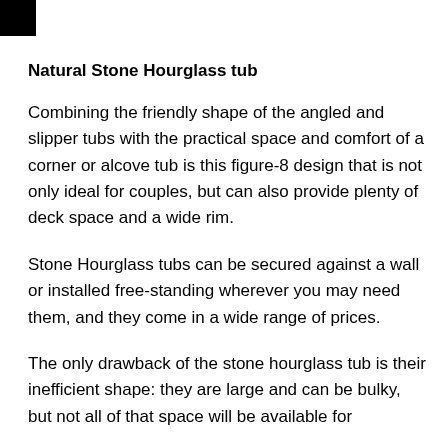Natural Stone Hourglass tub
Combining the friendly shape of the angled and slipper tubs with the practical space and comfort of a corner or alcove tub is this figure-8 design that is not only ideal for couples, but can also provide plenty of deck space and a wide rim.
Stone Hourglass tubs can be secured against a wall or installed free-standing wherever you may need them, and they come in a wide range of prices.
The only drawback of the stone hourglass tub is their inefficient shape: they are large and can be bulky, but not all of that space will be available for...